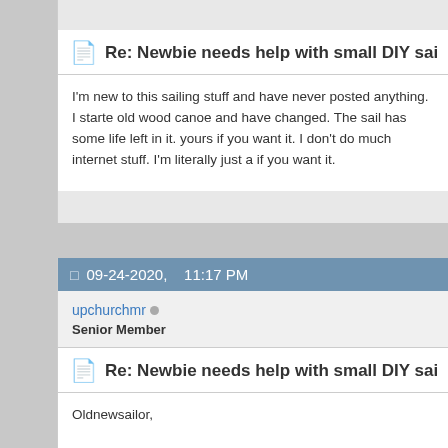Re: Newbie needs help with small DIY sail plan, trima...
I'm new to this sailing stuff and have never posted anything. I starte old wood canoe and have changed. The sail has some life left in it. yours if you want it. I don't do much internet stuff. I'm literally just a if you want it.
09-24-2020,    11:17 PM
upchurchmr
Senior Member
Re: Newbie needs help with small DIY sail plan, trima...
Oldnewsailor,

Why did you change from the laser sail?
Some info might provide interesting lessons learned.
Especially since I have a similar sail and mast!

How did you modify it also?